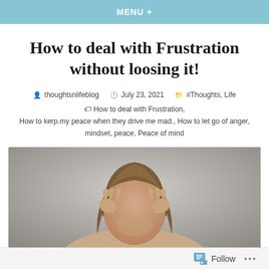MENU +
How to deal with Frustration without loosing it!
thoughtsnlifeblog   July 23, 2021   #Thoughts, Life   How to deal with Frustration,   How to kerp.my peace when they drive me mad., How to let go of anger, mindset, peace, Peace of mind
[Figure (photo): A person with long hair holding their head in their hands, appearing frustrated, photographed against a grey background.]
Follow   ...